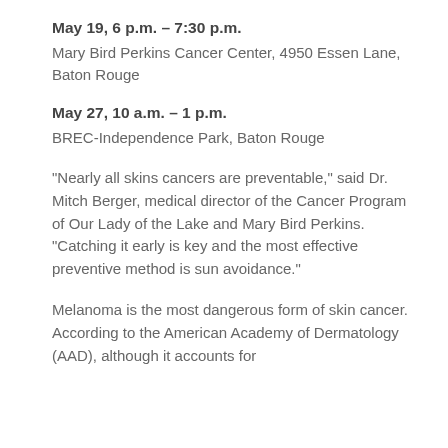May 19, 6 p.m. – 7:30 p.m.
Mary Bird Perkins Cancer Center, 4950 Essen Lane, Baton Rouge
May 27, 10 a.m. – 1 p.m.
BREC-Independence Park, Baton Rouge
“Nearly all skins cancers are preventable,” said Dr. Mitch Berger, medical director of the Cancer Program of Our Lady of the Lake and Mary Bird Perkins. “Catching it early is key and the most effective preventive method is sun avoidance.”
Melanoma is the most dangerous form of skin cancer. According to the American Academy of Dermatology (AAD), although it accounts for